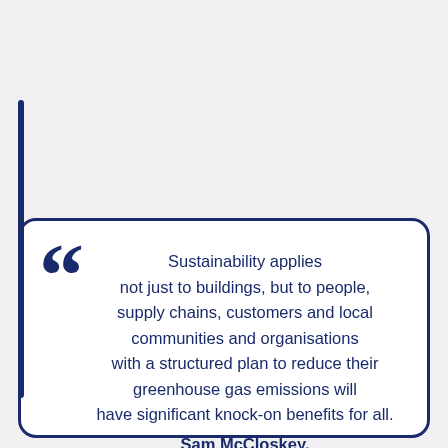Sustainability applies not just to buildings, but to people, supply chains, customers and local communities and organisations with a structured plan to reduce their greenhouse gas emissions will have significant knock-on benefits for all. Sam McCloskey, Director of Sustainability & Climate